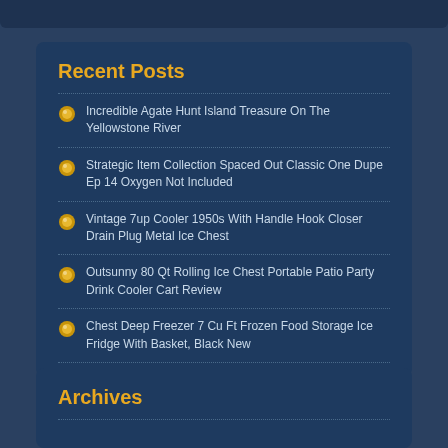Recent Posts
Incredible Agate Hunt Island Treasure On The Yellowstone River
Strategic Item Collection Spaced Out Classic One Dupe Ep 14 Oxygen Not Included
Vintage 7up Cooler 1950s With Handle Hook Closer Drain Plug Metal Ice Chest
Outsunny 80 Qt Rolling Ice Chest Portable Patio Party Drink Cooler Cart Review
Chest Deep Freezer 7 Cu Ft Frozen Food Storage Ice Fridge With Basket, Black New
Archives